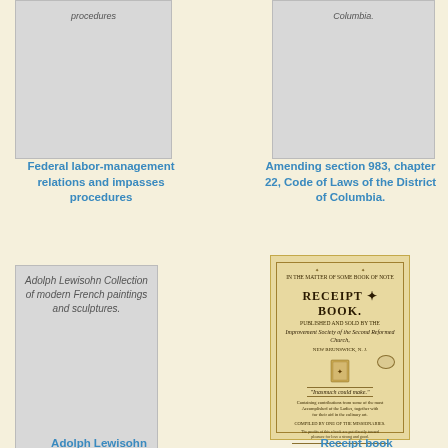[Figure (illustration): Gray book cover placeholder for Federal labor-management relations document, showing partial text 'procedures' at top]
Federal labor-management relations and impasses procedures
[Figure (illustration): Gray book cover placeholder for Amending section 983 document, showing partial text 'Columbia.' at top]
Amending section 983, chapter 22, Code of Laws of the District of Columbia.
[Figure (illustration): Gray book cover with text: Adolph Lewisohn Collection of modern French paintings and sculptures.]
Adolph Lewisohn
[Figure (illustration): Scanned cover of a Receipt Book published and sold by the Improvement Society of the Second Reformed Church, New Brunswick N.J. with emblem and stamp]
Receipt book